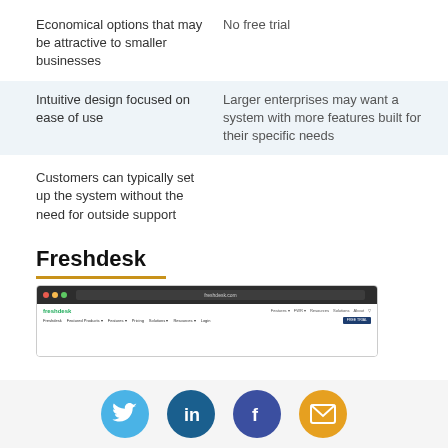Economical options that may be attractive to smaller businesses
No free trial
Intuitive design focused on ease of use
Larger enterprises may want a system with more features built for their specific needs
Customers can typically set up the system without the need for outside support
Freshdesk
[Figure (screenshot): Screenshot of Freshdesk website homepage showing navigation bar and FREE TRIAL button]
[Figure (infographic): Social media icons: Twitter (blue), LinkedIn (dark blue), Facebook (dark blue/purple), Email (orange)]